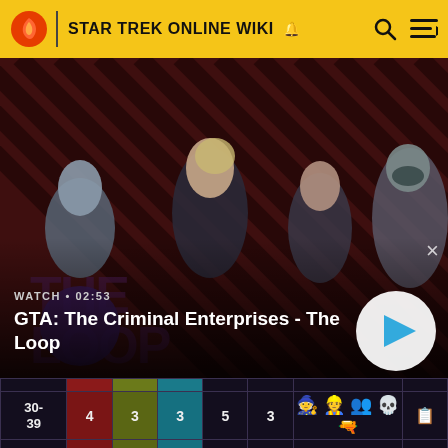STAR TREK ONLINE WIKI
[Figure (screenshot): GTA: The Criminal Enterprises - The Loop video banner with characters on striped background. Shows WATCH • 02:53 label, title text, and play button.]
|  |  |  |  |  |  |  |  |
| --- | --- | --- | --- | --- | --- | --- | --- |
| 30-39 | 4 | 3 | 3 | 5 | 3 | 🧙👷👥💀 | 📋 |
| 40+ | 5 | 3 | 3 |  |  |  |  |